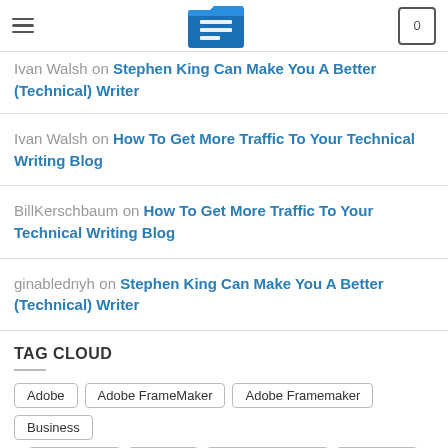Navigation header with hamburger menu, logo icon, and cart (0)
Ivan Walsh on Stephen King Can Make You A Better (Technical) Writer [partial, top clipped]
Ivan Walsh on How To Get More Traffic To Your Technical Writing Blog
BillKerschbaum on How To Get More Traffic To Your Technical Writing Blog
ginablednyh on Stephen King Can Make You A Better (Technical) Writer
TAG CLOUD
Tag buttons: Adobe, Adobe FrameMaker, Adobe Framemaker, Business, and more (partially visible)